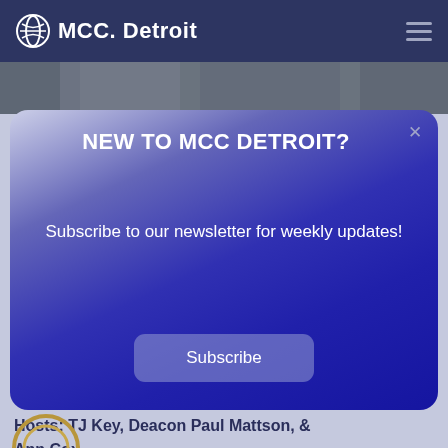MCC Detroit
[Figure (screenshot): Dark image strip showing people outdoors]
Fellowship Friday is a gathering of music
NEW TO MCC DETROIT?
Subscribe to our newsletter for weekly updates!
Subscribe
Hosts: TJ Key, Deacon Paul Mattson, & Ann Cox
[Figure (logo): Partial gold circle/logo at bottom left]